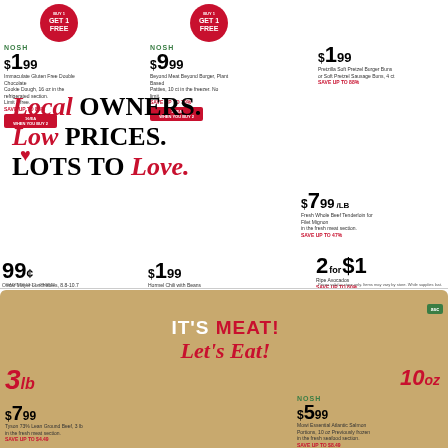[Figure (infographic): Grocery store advertisement page. Top half: white background with product deals. Bottom half: tan/kraft paper background with meat section.]
NOSH $1.99 Immaculate Gluten Free Double Chocolate Cookie Dough, 16 oz. Buy 1 get 1 free. SAVE UP TO 83%
NOSH $9.99 Beyond Meat Beyond Burger, Plant Based Patties, 10 ct in the freezer. No limit. SAVE UP TO 79%
$1.99 Pretzilla Soft Pretzel Burger Buns or Soft Pretzel Sausage Buns, 4 ct. SAVE UP TO 88%
Local OWNERS. Low PRICES. LOTS TO Love.
$7.99/LB Fresh Whole Beef Tenderloin for Filet Mignon in the fresh meat section. SAVE UP TO 47%
99¢ Oscar Mayer Lunchables, 8.8-10.7 oz. Assorted varieties in the refrigerated section. SAVE UP TO 70%
$1.99 Hormel Chili with Beans or No Beans, 15 oz. SAVE UP TO 46%
2 for $1 Ripe Avocados SAVE UP TO 80%
Prices valid in store only. Items may vary by store. While supplies last.
IT'S MEAT! Let's Eat!
$7.99 Tyson 73% Lean Ground Beef, 3 lb in the fresh meat section. SAVE UP TO $4.49
NOSH $5.99 Mowi Essential Atlantic Salmon Portions, 10 oz. Previously frozen in the fresh seafood section. SAVE UP TO $8.49